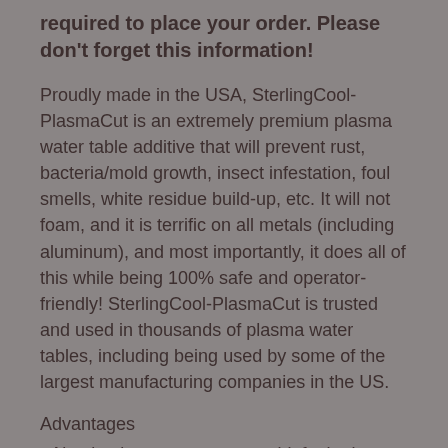required to place your order. Please don't forget this information!
Proudly made in the USA, SterlingCool-PlasmaCut is an extremely premium plasma water table additive that will prevent rust, bacteria/mold growth, insect infestation, foul smells, white residue build-up, etc. It will not foam, and it is terrific on all metals (including aluminum), and most importantly, it does all of this while being 100% safe and operator-friendly! SterlingCool-PlasmaCut is trusted and used in thousands of plasma water tables, including being used by some of the largest manufacturing companies in the US.
Advantages
• Absolutely prevents rust, mold, foul odors